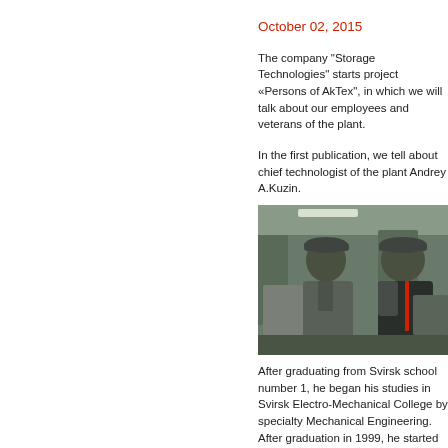October 02, 2015
The company "Storage Technologies" starts project «Persons of AkTex", in which we will talk about our employees and veterans of the plant.
In the first publication, we tell about chief technologist of the plant Andrey A.Kuzin.
[Figure (photo): Two men in grey work uniforms and caps standing in an industrial factory setting, facing each other in conversation.]
After graduating from Svirsk school number 1, he began his studies in Svirsk Electro-Mechanical College by specialty Mechanical Engineering. After graduation in 1999, he started his career at «AkTex" as autoclave-dryer. Due to the